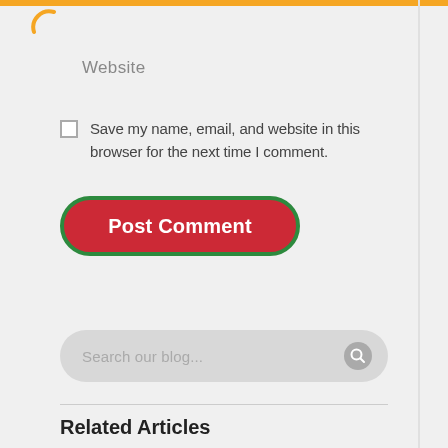Website
Save my name, email, and website in this browser for the next time I comment.
Post Comment
Search our blog...
Related Articles